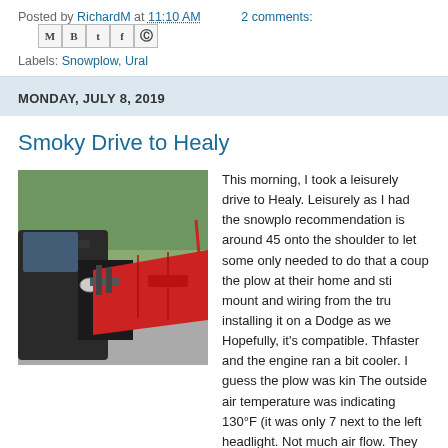Posted by RichardM at 11:10 AM   2 comments:
Labels: Snowplow, Ural
MONDAY, JULY 8, 2019
Smoky Drive to Healy
[Figure (photo): A red snowplow blade attached to the front of a dark vehicle, parked on a road with green trees in the background. A red strap is visible on the right side.]
This morning, I took a leisurely drive to Healy. Leisurely as I had the snowplow on and the recommendation is around 45 mph. I pulled onto the shoulder to let some cars pass. I only needed to do that a couple times. I sold the plow at their home and still had the mount and wiring from the truck. They are installing it on a Dodge as well so Hopefully, it's compatible. The faster and the engine ran a bit cooler. I guess the plow was kind. The outside air temperature was indicating 130°F (it was only 7 next to the left headlight. Not much air flow. They are coming ba RAHI graduation as several of their students have been part of